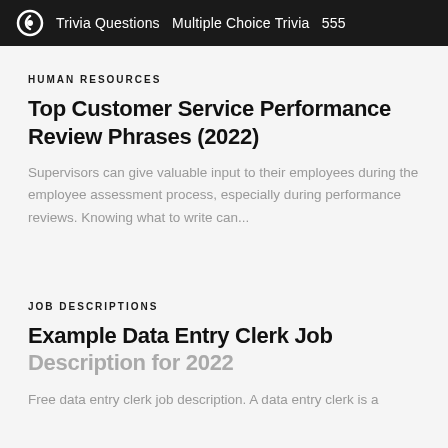Trivia Questions  Multiple Choice Trivia  555
HUMAN RESOURCES
Top Customer Service Performance Review Phrases (2022)
Supervisors can give valuable input to their employees during the employee assessment process, especially during performance reviews. Knowing what to write can...
JOB DESCRIPTIONS
Example Data Entry Clerk Job Description for 2022
Free data entry clerk job description. A data entry clerk is a